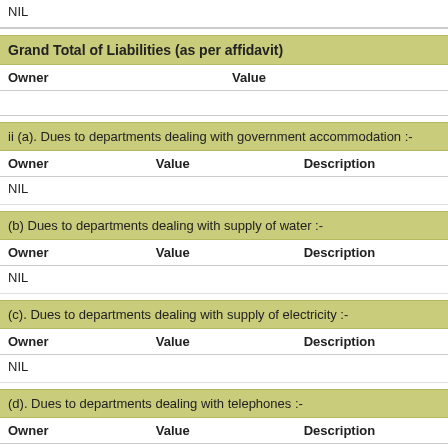| NIL |
Grand Total of Liabilities (as per affidavit)
| Owner | Value |
| --- | --- |
ii (a). Dues to departments dealing with government accommodation :-
| Owner | Value | Description |
| --- | --- | --- |
| NIL |  |  |
(b) Dues to departments dealing with supply of water :-
| Owner | Value | Description |
| --- | --- | --- |
| NIL |  |  |
(c). Dues to departments dealing with supply of electricity :-
| Owner | Value | Description |
| --- | --- | --- |
| NIL |  |  |
(d). Dues to departments dealing with telephones :-
| Owner | Value | Description |
| --- | --- | --- |
| NIL |  |  |